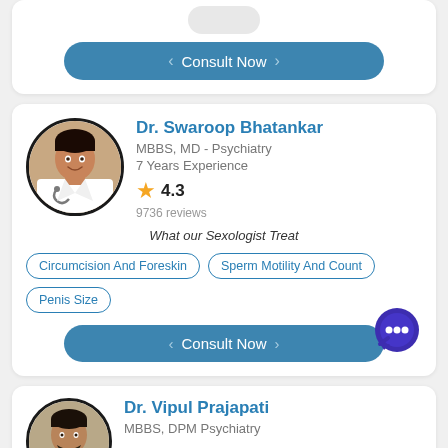[Figure (other): Partial top card with avatar placeholder and Consult Now button]
Consult Now
Dr. Swaroop Bhatankar
MBBS, MD - Psychiatry
7 Years Experience
4.3
9736 reviews
What our Sexologist Treat
Circumcision And Foreskin
Sperm Motility And Count
Penis Size
Consult Now
Dr. Vipul Prajapati
MBBS, DPM Psychiatry